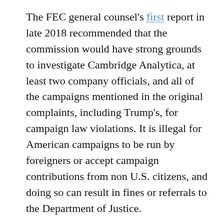The FEC general counsel's first report in late 2018 recommended that the commission would have strong grounds to investigate Cambridge Analytica, at least two company officials, and all of the campaigns mentioned in the original complaints, including Trump's, for campaign law violations. It is illegal for American campaigns to be run by foreigners or accept campaign contributions from non U.S. citizens, and doing so can result in fines or referrals to the Department of Justice.
The initial report specifically advised the commission to “find reason to believe” that those targeted in the first complaints